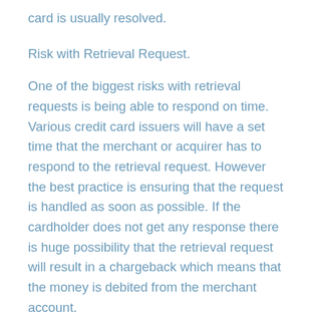card is usually resolved.
Risk with Retrieval Request.
One of the biggest risks with retrieval requests is being able to respond on time. Various credit card issuers will have a set time that the merchant or acquirer has to respond to the retrieval request. However the best practice is ensuring that the request is handled as soon as possible. If the cardholder does not get any response there is huge possibility that the retrieval request will result in a chargeback which means that the money is debited from the merchant account.